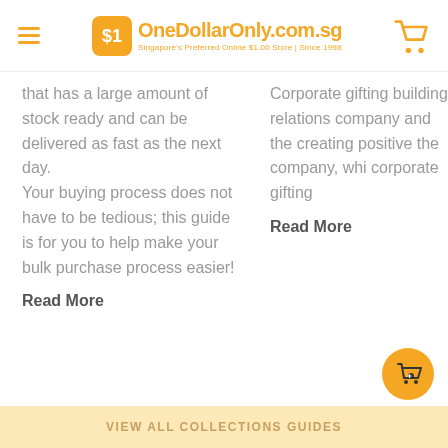OneDollarOnly.com.sg — Singapore's Preferred Online $1.00 Store | Since 1998
that has a large amount of stock ready and can be delivered as fast as the next day.
Your buying process does not have to be tedious; this guide is for you to help make your bulk purchase process easier!
Read More
Corporate gifting building relations company and the creating positive the company, whi corporate gifting
Read More
VIEW ALL COLLECTIONS GUIDES